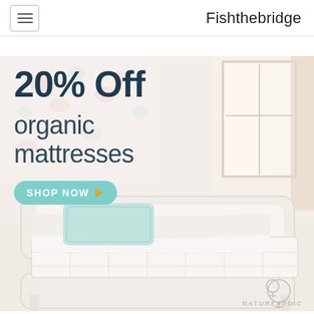Fishthebridge
[Figure (photo): Advertisement banner for Naturepedic organic mattresses showing a children's bedroom with a white bed frame and mattress. Text overlay reads '20% Off organic mattresses' with a teal 'SHOP NOW' button and Naturepedic logo at bottom right.]